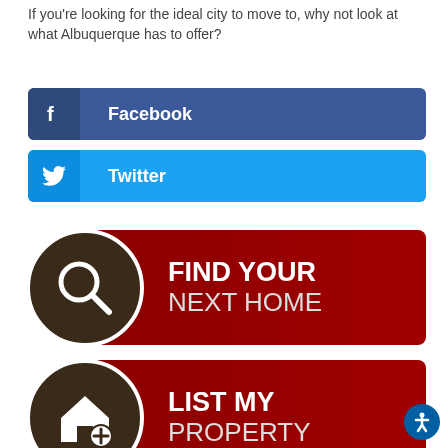If you're looking for the ideal city to move to, why not look at what Albuquerque has to offer?
[Figure (infographic): Facebook share button with Facebook 'f' icon on dark blue background and label 'Facebook']
[Figure (infographic): Twitter share button with Twitter bird icon on light blue background and label 'Twitter']
[Figure (infographic): Call-to-action button: dark brown circle with magnifying glass icon on the left, dark red background on right with text 'FIND YOUR NEXT HOME']
[Figure (infographic): Call-to-action button: dark brown circle with house-plus icon on the left, dark red background on right with text 'LIST MY PROPERTY']